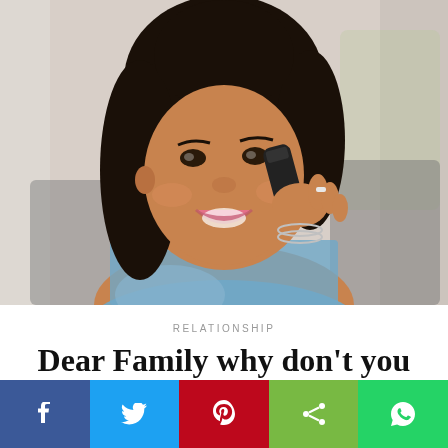[Figure (photo): A smiling South Asian woman holding a telephone handset to her ear, with long dark hair, wearing a blue top and bracelets, photographed in a bright indoor setting.]
RELATIONSHIP
Dear Family why don't you think my job is as important as your